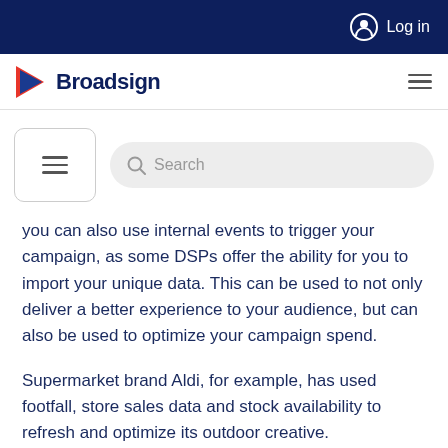Log in
[Figure (logo): Broadsign logo with play-button triangle and text 'Broadsign']
[Figure (screenshot): Navigation menu box with hamburger icon and search bar with magnifying glass icon and placeholder text 'Search']
you can also use internal events to trigger your campaign, as some DSPs offer the ability for you to import your unique data. This can be used to not only deliver a better experience to your audience, but can also be used to optimize your campaign spend.
Supermarket brand Aldi, for example, has used footfall, store sales data and stock availability to refresh and optimize its outdoor creative.